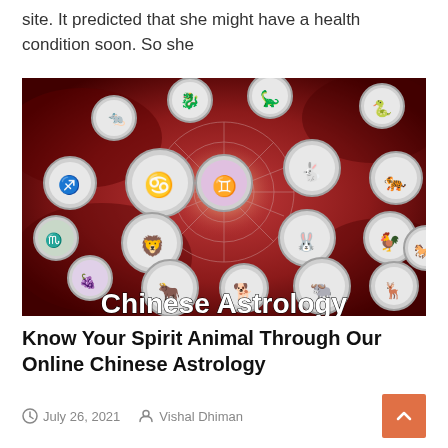site. It predicted that she might have a health condition soon. So she
[Figure (illustration): Chinese Astrology illustration showing a circular zodiac wheel with Chinese and Western astrological symbols against a dark red background, with silver medallion icons around the wheel depicting the 12 Chinese zodiac animals. Bold white text at the bottom reads 'Chinese Astrology'.]
Know Your Spirit Animal Through Our Online Chinese Astrology
July 26, 2021   Vishal Dhiman